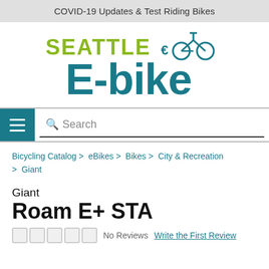COVID-19 Updates & Test Riding Bikes
[Figure (logo): Seattle E-bike logo with bicycle icon, 'SEATTLE' in yellow-green and 'E-bike' in teal]
Search
Bicycling Catalog > eBikes > Bikes > City & Recreation > Giant
Giant
Roam E+ STA
No Reviews  Write the First Review